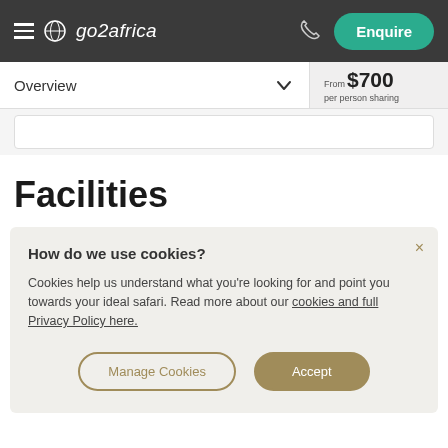go2africa — Enquire
Overview — From $700 per person sharing
Facilities
How do we use cookies?
Cookies help us understand what you're looking for and point you towards your ideal safari. Read more about our cookies and full Privacy Policy here.
Manage Cookies | Accept